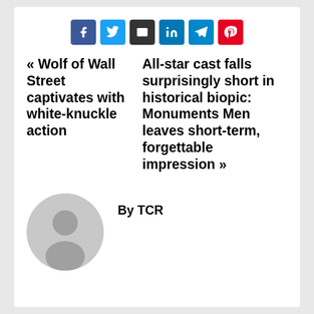[Figure (infographic): Social share buttons row: Facebook (blue), Twitter (light blue), Email (dark/black), LinkedIn (blue), Telegram (light blue), Pinterest (red)]
« Wolf of Wall Street captivates with white-knuckle action
All-star cast falls surprisingly short in historical biopic: Monuments Men leaves short-term, forgettable impression »
By TCR
[Figure (illustration): Generic user avatar: grey circle with silhouette of a person]